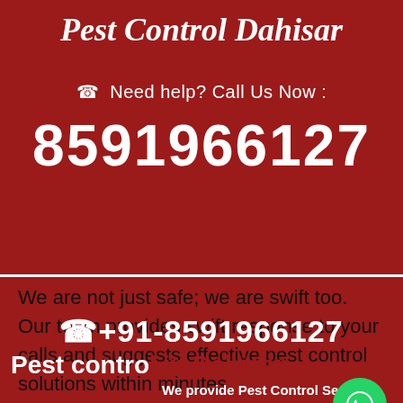Pest Control Dahisar
Need help? Call Us Now :
8591966127
We are not just safe; we are swift too. Our team provides swift response to your calls and suggests effective pest control solutions within minutes.
[Figure (logo): WhatsApp green circle button icon]
+91-8591966127
Pest control in Dahisar
We provide Pest Control Servic